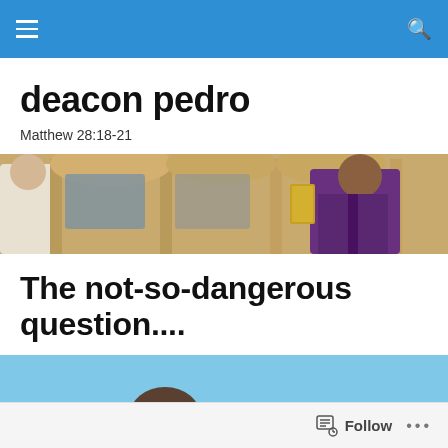deacon pedro — navigation bar
deacon pedro
Matthew 28:18-21
[Figure (photo): Interior of a church with golden arches. A deacon in purple vestments holds a book near the altar.]
The not-so-dangerous question....
[Figure (photo): Partial thumbnail image showing figures against a light blue sky background.]
Follow  •••